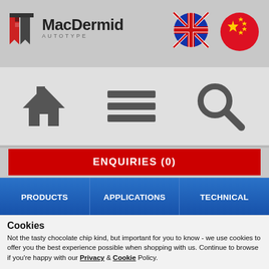[Figure (logo): MacDermid Autotype logo with red bookmark icon and company name]
[Figure (illustration): Navigation bar with home icon, hamburger menu icon, and search/magnify icon]
ENQUIRIES (0)
PRODUCTS
APPLICATIONS
TECHNICAL
NEWS & EVENTS
WHERE TO BUY
CONTACT US
How to Guide - Mesh Preparation for PLUS
Cookies
Not the tasty chocolate chip kind, but important for you to know - we use cookies to offer you the best experience possible when shopping with us. Continue to browse if you're happy with our Privacy & Cookie Policy.